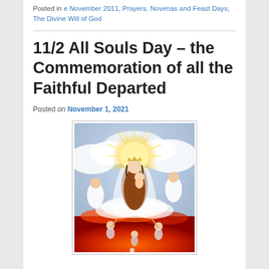Posted in e November 2011, Prayers, Novenas and Feast Days, The Divine Will of God
11/2 All Souls Day – the Commemoration of all the Faithful Departed
Posted on November 1, 2021
[Figure (illustration): Religious painting of the Virgin Mary holding the Christ Child, surrounded by angels and souls, with a radiant golden halo. Below are souls in purgatory reaching upward amid flames.]